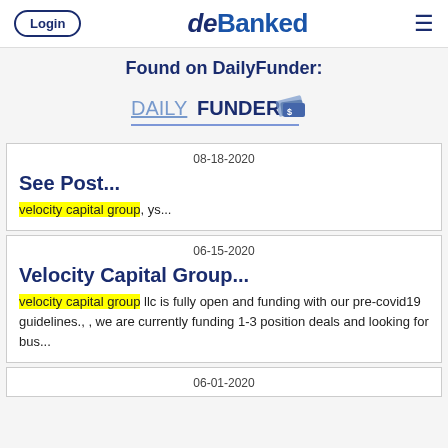Login | deBanked | ≡
Found on DailyFunder:
[Figure (logo): DailyFunder logo with text DAILYFUNDER and dollar bill graphic]
08-18-2020
See Post...
velocity capital group, ys...
06-15-2020
Velocity Capital Group...
velocity capital group llc is fully open and funding with our pre-covid19 guidelines., , we are currently funding 1-3 position deals and looking for bus...
06-01-2020